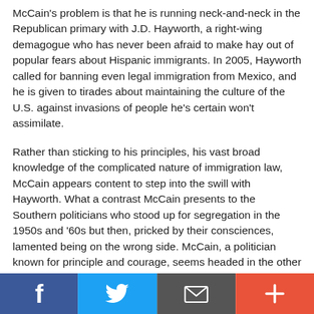McCain's problem is that he is running neck-and-neck in the Republican primary with J.D. Hayworth, a right-wing demagogue who has never been afraid to make hay out of popular fears about Hispanic immigrants. In 2005, Hayworth called for banning even legal immigration from Mexico, and he is given to tirades about maintaining the culture of the U.S. against invasions of people he's certain won't assimilate.
Rather than sticking to his principles, his vast broad knowledge of the complicated nature of immigration law, McCain appears content to step into the swill with Hayworth. What a contrast McCain presents to the Southern politicians who stood up for segregation in the 1950s and '60s but then, pricked by their consciences, lamented being on the wrong side. McCain, a politician known for principle and courage, seems headed in the other direction.
And for this he is expecting the good people in Arizona to vote for him?
[Figure (other): Social media sharing bar with four buttons: Facebook (blue, f icon), Twitter (blue, bird icon), Email (dark gray, envelope icon), More (red-orange, plus icon)]